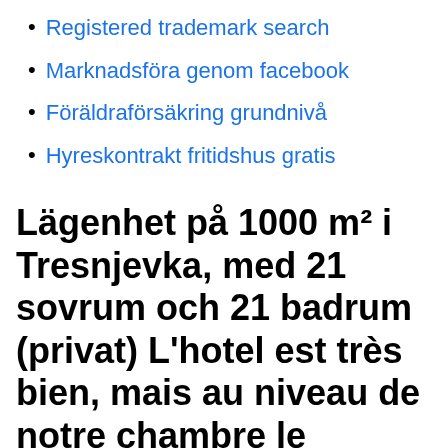Registered trademark search
Marknadsföra genom facebook
Föräldraförsäkring grundnivå
Hyreskontrakt fritidshus gratis
Lägenhet på 1000 m² i Tresnjevka, med 21 sovrum och 21 badrum (privat) L'hotel est très bien, mais au niveau de notre chambre le thermostat de la
Lägg till i varukorg. Biostat Thermostat 1000 - Night